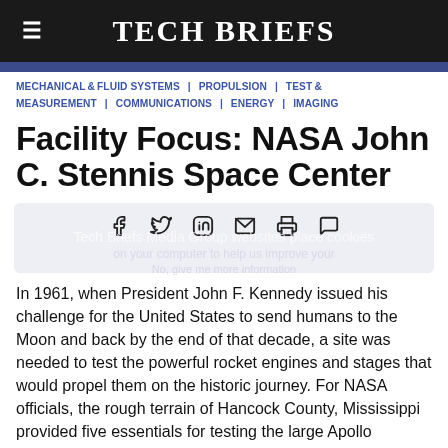Tech Briefs
MECHANICAL & FLUID SYSTEMS | PROPULSION | TEST & MEASUREMENT | COMMUNICATIONS | ENERGY | IMAGING
Facility Focus: NASA John C. Stennis Space Center
In 1961, when President John F. Kennedy issued his challenge for the United States to send humans to the Moon and back by the end of that decade, a site was needed to test the powerful rocket engines and stages that would propel them on the historic journey. For NASA officials, the rough terrain of Hancock County, Mississippi provided five essentials for testing the large Apollo Program engines and stages: isolation from large population centers, water and road access for transportation, available public